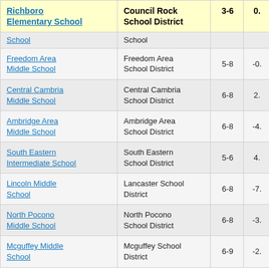| School | District | Grades | Value |
| --- | --- | --- | --- |
| Richboro Elementary School | Council Rock School District | 3-6 | 0. |
| School | School |  |  |
| Freedom Area Middle School | Freedom Area School District | 5-8 | -0. |
| Central Cambria Middle School | Central Cambria School District | 6-8 | 2. |
| Ambridge Area Middle School | Ambridge Area School District | 6-8 | -4. |
| South Eastern Intermediate School | South Eastern School District | 5-6 | 4. |
| Lincoln Middle School | Lancaster School District | 6-8 | -7. |
| North Pocono Middle School | North Pocono School District | 6-8 | -3. |
| Mcguffey Middle School | Mcguffey School District | 6-9 | -2. |